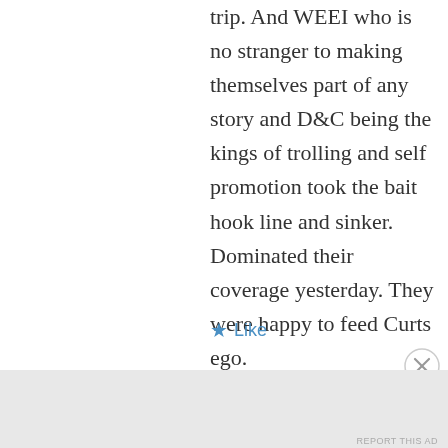trip. And WEEI who is no stranger to making themselves part of any story and D&C being the kings of trolling and self promotion took the bait hook line and sinker. Dominated their coverage yesterday. They were happy to feed Curts ego.
★ Like
Advertisements
Build a writing habit. Post on the go.
GET THE APP
REPORT THIS AD